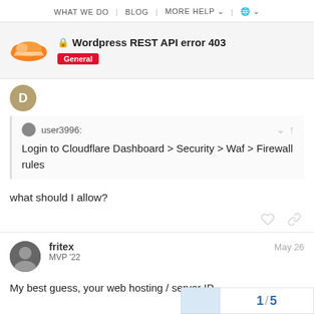WHAT WE DO | BLOG | MORE HELP | 🌐
🔒 Wordpress REST API error 403 — General
user3996: Login to Cloudflare Dashboard > Security > Waf > Firewall rules
what should I allow?
fritex — MVP '22 — May 26
My best guess, your web hosting / server IP.
1 / 5